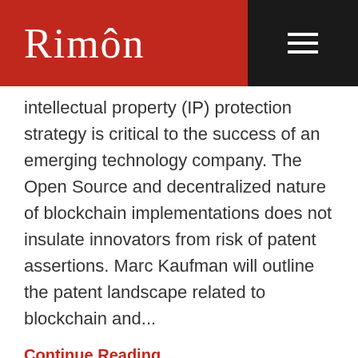RIMÔN
intellectual property (IP) protection strategy is critical to the success of an emerging technology company. The Open Source and decentralized nature of blockchain implementations does not insulate innovators from risk of patent assertions. Marc Kaufman will outline the patent landscape related to blockchain and...
Continue Reading...
Rimon Partner, Marc